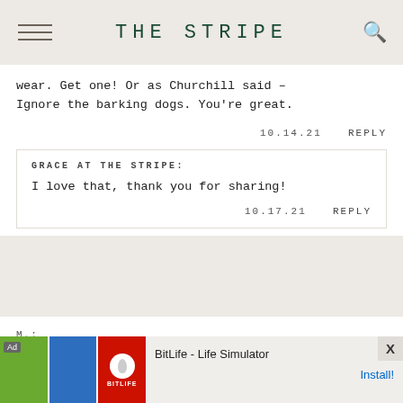THE STRIPE
wear. Get one! Or as Churchill said – Ignore the barking dogs. You're great.
10.14.21   REPLY
GRACE AT THE STRIPE:
I love that, thank you for sharing!
10.17.21   REPLY
M.:
[Figure (screenshot): Mobile advertisement banner for BitLife - Life Simulator app showing green, blue, and red image panels with Ad label and Install button]